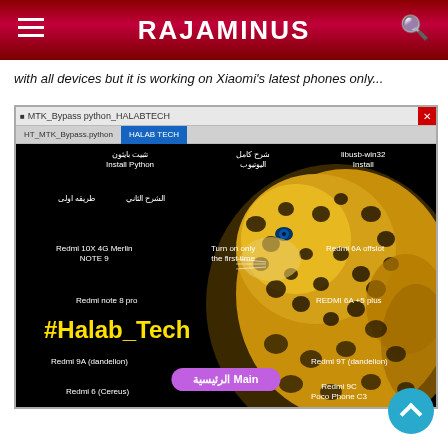RAJAMINUS
with all devices but it is working on Xiaomi's latest phones only...
[Figure (screenshot): Screenshot of MTK_Bypass python HALABTECH application window showing a Halab Tech tool interface with a leopard background image. Contains navigation tabs (HT_MTK_Bypass.python | HALAB TECH), Arabic text labels, and various button labels including: تثبيت بايثون / Install Python, libusb-win32 Install, شرح كامل اليوتيوب, الشرح الثاني, طريقة اولى, Redmi 10X 4G Merlin NOTE 9, Turn on only the first time, Redmi 6A offslot, Redmi note 8 pro, REDMI 6A +5 plus, #Halab_Tech (large yellow text), Redmi 9A (dandelion), Redmi 9T (dandelion), Redmi 6 (Cereus), Redmi 9C Poco Phone C3, Main / الرئيسية button]